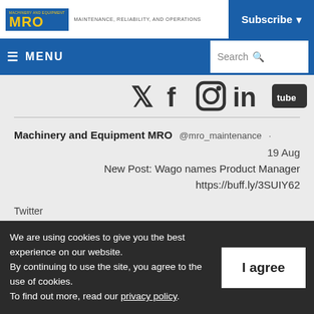MRO - MAINTENANCE, RELIABILITY, AND OPERATIONS | Subscribe
≡ MENU | Search
[Figure (screenshot): Social media icons: Twitter, Facebook, Instagram, LinkedIn, YouTube]
Machinery and Equipment MRO @mro_maintenance · 19 Aug New Post: Wago names Product Manager https://buff.ly/3SUIY62 Twitter
We are using cookies to give you the best experience on our website. By continuing to use the site, you agree to the use of cookies. To find out more, read our privacy policy.